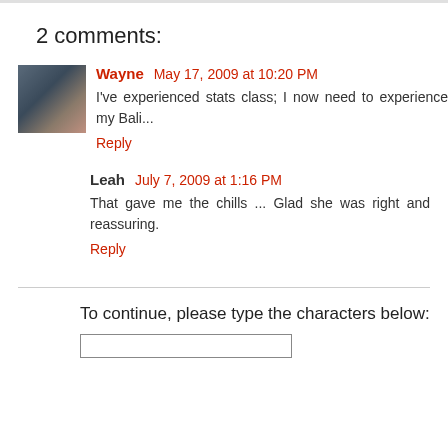2 comments:
Wayne  May 17, 2009 at 10:20 PM
I've experienced stats class; I now need to experience my Bali...
Reply
Leah  July 7, 2009 at 1:16 PM
That gave me the chills ... Glad she was right and reassuring.
Reply
To continue, please type the characters below: